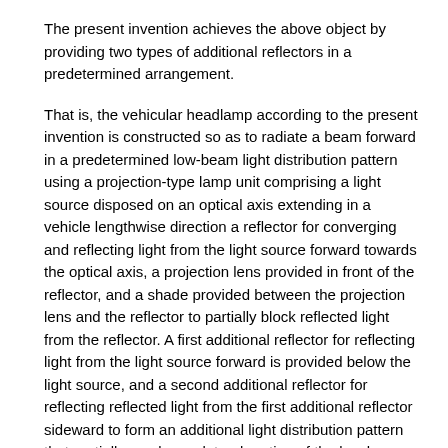The present invention achieves the above object by providing two types of additional reflectors in a predetermined arrangement.
That is, the vehicular headlamp according to the present invention is constructed so as to radiate a beam forward in a predetermined low-beam light distribution pattern using a projection-type lamp unit comprising a light source disposed on an optical axis extending in a vehicle lengthwise direction a reflector for converging and reflecting light from the light source forward towards the optical axis, a projection lens provided in front of the reflector, and a shade provided between the projection lens and the reflector to partially block reflected light from the reflector. A first additional reflector for reflecting light from the light source forward is provided below the light source, and a second additional reflector for reflecting reflected light from the first additional reflector sideward to form an additional light distribution pattern that partially overlaps a lateral portion of the low-beam light distribution pattern is provided in front of the first additional reflector.
The specific type of light source is not particularly limited